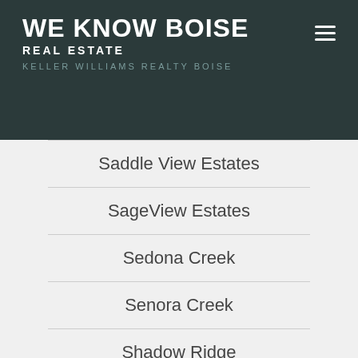WE KNOW BOISE REAL ESTATE KELLER WILLIAMS REALTY BOISE
Saddle View Estates
SageView Estates
Sedona Creek
Senora Creek
Shadow Ridge
Shadowbluff
Somerset Estates
Somerset Farms
Springhouse